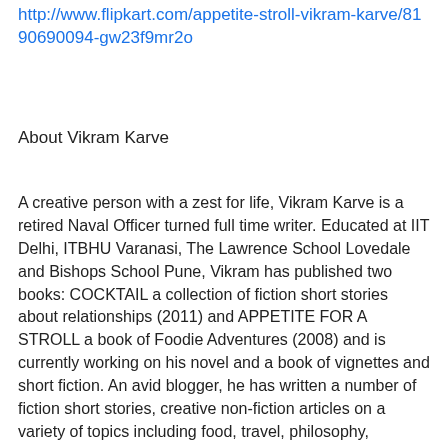http://www.flipkart.com/appetite-stroll-vikram-karve/8190690094-gw23f9mr2o
About Vikram Karve
A creative person with a zest for life, Vikram Karve is a retired Naval Officer turned full time writer. Educated at IIT Delhi, ITBHU Varanasi, The Lawrence School Lovedale and Bishops School Pune, Vikram has published two books: COCKTAIL a collection of fiction short stories about relationships (2011) and APPETITE FOR A STROLL a book of Foodie Adventures (2008) and is currently working on his novel and a book of vignettes and short fiction. An avid blogger, he has written a number of fiction short stories, creative non-fiction articles on a variety of topics including food, travel, philosophy, academics, technology, management, health, pet parenting, teaching stories and self help in magazines and published a large number of professional research papers in journals and edited in-house journals for many years, before the advent of blogging.